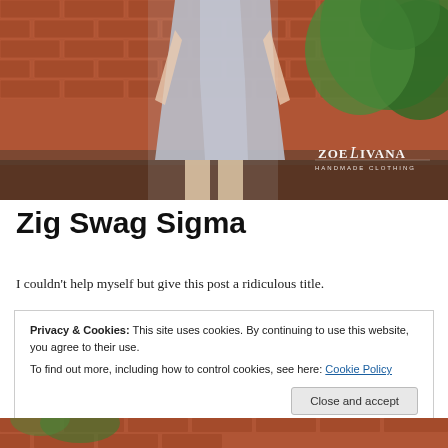[Figure (photo): Woman wearing a light gray/lavender shift dress, standing in front of a red brick wall with green leafy plants. ZoeLivana Handmade Clothing logo visible in bottom right of photo.]
Zig Swag Sigma
I couldn't help myself but give this post a ridiculous title.
Privacy & Cookies: This site uses cookies. By continuing to use this website, you agree to their use.
To find out more, including how to control cookies, see here: Cookie Policy
[Close and accept]
[Figure (photo): Partial second photo at bottom of page, showing brickwork and outdoor setting similar to top photo.]